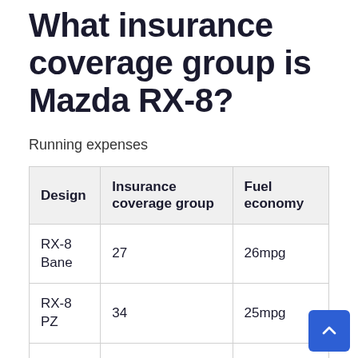What insurance coverage group is Mazda RX-8?
Running expenses
| Design | Insurance coverage group | Fuel economy |
| --- | --- | --- |
| RX-8 Bane | 27 | 26mpg |
| RX-8 PZ | 34 | 25mpg |
| RX-8 Kuro | 30 | 25mpg |
| RX-8 R3 | 31 | 24mpg |